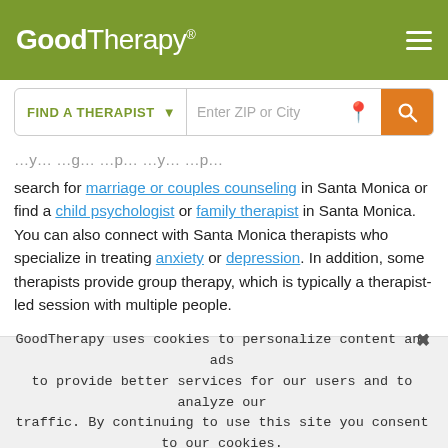[Figure (logo): GoodTherapy logo in white on olive green header bar with hamburger menu icon]
[Figure (screenshot): Search bar with FIND A THERAPIST dropdown and Enter ZIP or City input with orange search button]
search for marriage or couples counseling in Santa Monica or find a child psychologist or family therapist in Santa Monica. You can also connect with Santa Monica therapists who specialize in treating anxiety or depression. In addition, some therapists provide group therapy, which is typically a therapist-led session with multiple people.
Beliefs about how much therapy costs may deter some people from finding a therapist. It’s a good idea to contact therapists you’re interested in and ask about insurance,
GoodTherapy uses cookies to personalize content and ads to provide better services for our users and to analyze our traffic. By continuing to use this site you consent to our cookies.